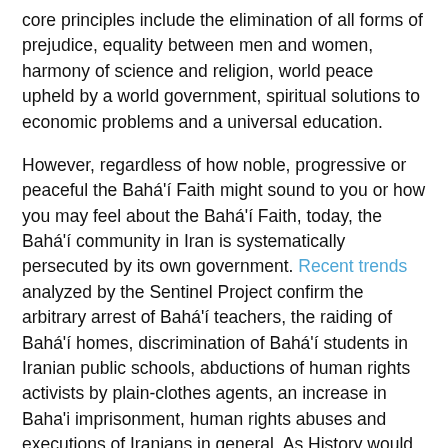core principles include the elimination of all forms of prejudice, equality between men and women, harmony of science and religion, world peace upheld by a world government, spiritual solutions to economic problems and a universal education.
However, regardless of how noble, progressive or peaceful the Bahá'í Faith might sound to you or how you may feel about the Bahá'í Faith, today, the Bahá'í community in Iran is systematically persecuted by its own government. Recent trends analyzed by the Sentinel Project confirm the arbitrary arrest of Bahá'í teachers, the raiding of Bahá'í homes, discrimination of Bahá'í students in Iranian public schools, abductions of human rights activists by plain-clothes agents, an increase in Baha'i imprisonment, human rights abuses and executions of Iranians in general. As History would tell, such unnerving tendencies have often preceded past genocides. The Sentinel Project for Genocide